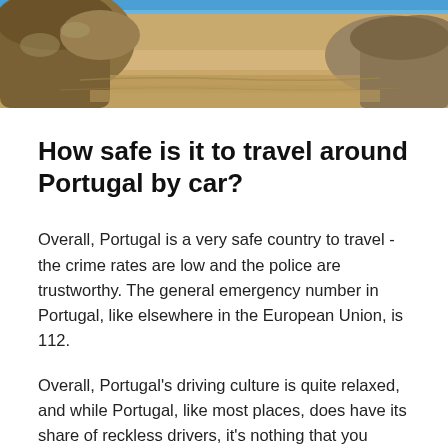[Figure (photo): Coastal landscape photo showing rocky cliff formation and sandy beach with warm sandy tones and blue sky strip at top]
How safe is it to travel around Portugal by car?
Overall, Portugal is a very safe country to travel - the crime rates are low and the police are trustworthy. The general emergency number in Portugal, like elsewhere in the European Union, is 112.
Overall, Portugal's driving culture is quite relaxed, and while Portugal, like most places, does have its share of reckless drivers, it's nothing that you should especially worry about. There are a few mountain ranges in Portugal